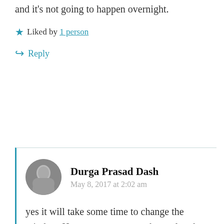and it's not going to happen overnight.
★ Liked by 1 person
↪ Reply
Durga Prasad Dash
May 8, 2017 at 2:02 am
yes it will take some time to change the mindset. However, some steps have already been taken.
Thank you Maniparna ji for stopping by
★ Liked by 1 person